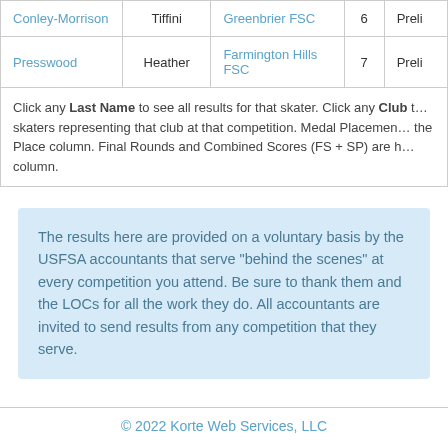| Last Name | First Name | Club | Place | Round |
| --- | --- | --- | --- | --- |
| Conley-Morrison | Tiffini | Greenbrier FSC | 6 | Preli… |
| Presswood | Heather | Farmington Hills FSC | 7 | Preli… |
| (note) | Click any Last Name to see all results for that skater. Click any Club to see all skaters representing that club at that competition. Medal Placements are shown in the Place column. Final Rounds and Combined Scores (FS + SP) are highlighted in the column. |  |  |  |
The results here are provided on a voluntary basis by the USFSA accountants that serve "behind the scenes" at every competition you attend. Be sure to thank them and the LOCs for all the work they do. All accountants are invited to send results from any competition that they serve.
© 2022 Korte Web Services, LLC